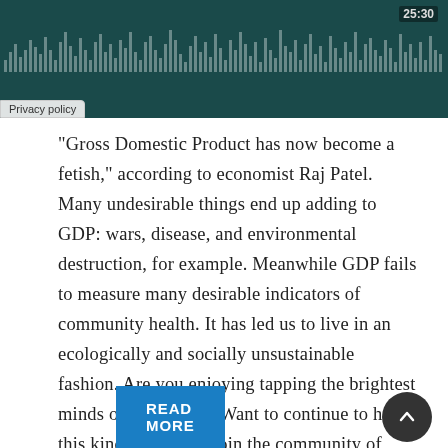[Figure (screenshot): Video player banner with dark teal background, waveform visualization, timer showing 25:30, and Privacy policy label at bottom left]
“Gross Domestic Product has now become a fetish,” according to economist Raj Patel. Many undesirable things end up adding to GDP: wars, disease, and environmental destruction, for example. Meanwhile GDP fails to measure many desirable indicators of community health. It has led us to live in an ecologically and socially unsustainable fashion. Are you enjoying tapping the brightest minds on the planet? Want to continue to have this kind of access? Join the community of Conversation Earth fans pitching in…
READ MORE